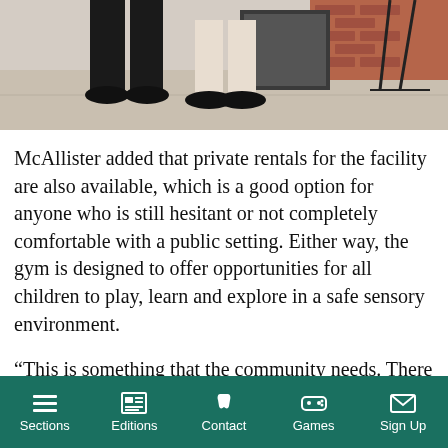[Figure (photo): Partial view of two people standing on a sidewalk outside a building with brick wall; only their legs and feet (wearing black shoes/sneakers) are visible.]
McAllister added that private rentals for the facility are also available, which is a good option for anyone who is still hesitant or not completely comfortable with a public setting. Either way, the gym is designed to offer opportunities for all children to play, learn and explore in a safe sensory environment.
“This is something that the community needs. There is such a passion for the business and what it does for the children. We have
Sections   Editions   Contact   Games   Sign Up